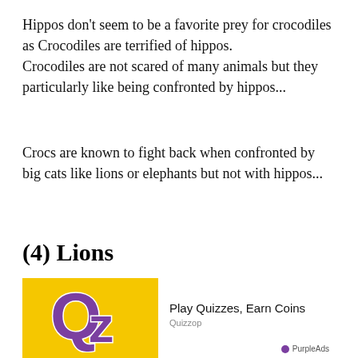Hippos don't seem to be a favorite prey for crocodiles as Crocodiles are terrified of hippos.
Crocodiles are not scared of many animals but they particularly like being confronted by hippos...
Crocs are known to fight back when confronted by big cats like lions or elephants but not with hippos...
(4) Lions
[Figure (photo): Outdoor scene showing dry muddy ground and rocks, with an overlaid advertisement for Quizzop showing a yellow background with purple 'Qz' logo, text 'Play Quizzes, Earn Coins', source 'Quizzop', and 'PurpleAds' badge in bottom right.]